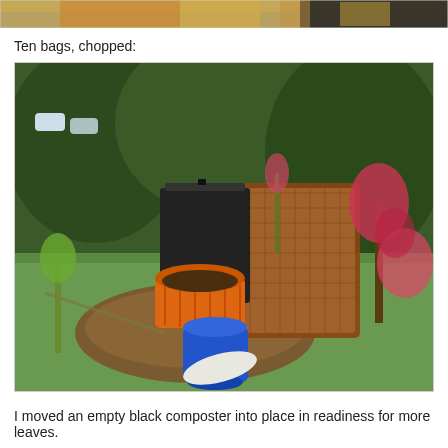[Figure (photo): Partial top photo showing autumn leaves and bags, cropped at top of page]
Ten bags, chopped:
[Figure (photo): Garden photo showing a large wire mesh bin filled with chopped leaves (brown material), a black plastic composter, an orange laundry basket, a blue bucket, and garden plants/shrubs in the background]
I moved an empty black composter into place in readiness for more leaves.